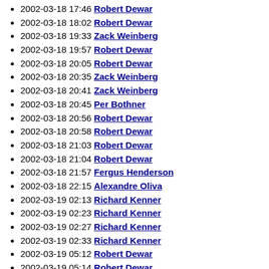2002-03-18 17:46 Robert Dewar
2002-03-18 18:02 Robert Dewar
2002-03-18 19:33 Zack Weinberg
2002-03-18 19:57 Robert Dewar
2002-03-18 20:05 Robert Dewar
2002-03-18 20:35 Zack Weinberg
2002-03-18 20:41 Zack Weinberg
2002-03-18 20:45 Per Bothner
2002-03-18 20:56 Robert Dewar
2002-03-18 20:58 Robert Dewar
2002-03-18 21:03 Robert Dewar
2002-03-18 21:04 Robert Dewar
2002-03-18 21:57 Fergus Henderson
2002-03-18 22:15 Alexandre Oliva
2002-03-19 02:13 Richard Kenner
2002-03-19 02:23 Richard Kenner
2002-03-19 02:27 Richard Kenner
2002-03-19 02:33 Richard Kenner
2002-03-19 05:12 Robert Dewar
2002-03-19 05:14 Robert Dewar
2002-03-19 07:29 Alexandre Oliva
2002-03-19 07:46 Robert Dewar
2002-03-19 09:21 Zack Weinberg
2002-03-19 09:46 mike stump
2002-03-19 10:02 Richard Kenner